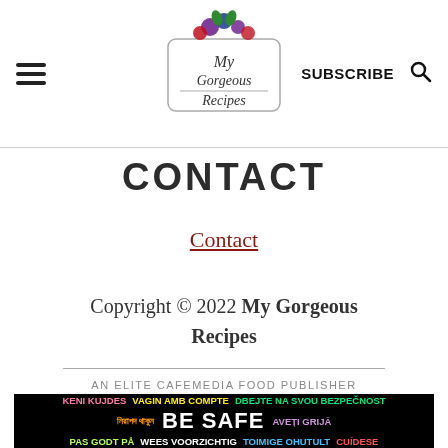My Gorgeous Recipes — SUBSCRIBE
CONTACT
Contact
Copyright © 2022 My Gorgeous Recipes
AN ELITE CAFEMEDIA FOOD PUBLISHER
[Figure (infographic): Multilingual BE SAFE ad banner on dark background with colorful text in multiple languages]